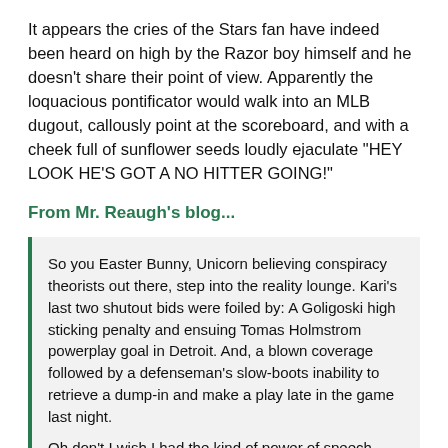It appears the cries of the Stars fan have indeed been heard on high by the Razor boy himself and he doesn't share their point of view. Apparently the loquacious pontificator would walk into an MLB dugout, callously point at the scoreboard, and with a cheek full of sunflower seeds loudly ejaculate "HEY LOOK HE'S GOT A NO HITTER GOING!"
From Mr. Reaugh's blog...
So you Easter Bunny, Unicorn believing conspiracy theorists out there, step into the reality lounge. Kari's last two shutout bids were foiled by: A Goligoski high sticking penalty and ensuing Tomas Holmstrom powerplay goal in Detroit. And, a blown coverage followed by a defenseman's slow-boots inability to retrieve a dump-in and make a play late in the game last night.

Oh don't I wish I had the kind of power of speech